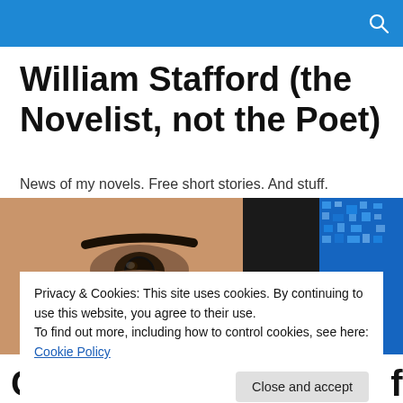William Stafford (the Novelist, not the Poet)
News of my novels. Free short stories. And stuff.
[Figure (photo): Close-up photo of a person's eye and face on the left, with a pixelated blue pattern on the right side]
Privacy & Cookies: This site uses cookies. By continuing to use this website, you agree to their use.
To find out more, including how to control cookies, see here: Cookie Policy
Coming Soon, in time for